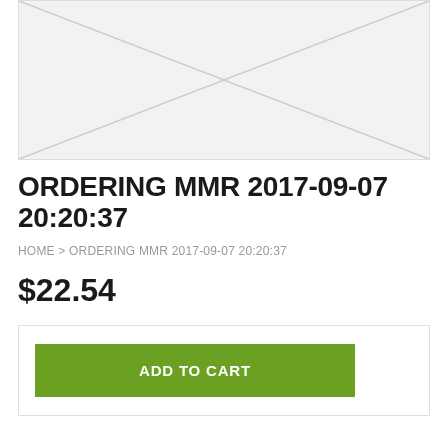[Figure (other): Product image placeholder with diagonal cross lines on light gray background]
ORDERING MMR 2017-09-07 20:20:37
HOME > ORDERING MMR 2017-09-07 20:20:37
$22.54
ADD TO CART